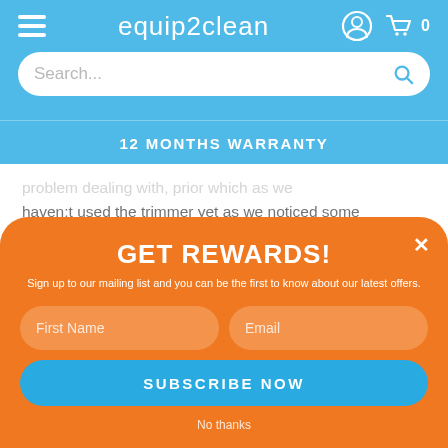equip2clean
Search...
12 MONTHS WARRANTY
problem dealing with, prior which as we haven;t used the trimmer yet as we noticed some Blackbirds had started nesting and raising chicks in the hedge so we have been reluctant to disturb them. What I can say is the delivery was very quick and the assistant we deal with answering one of our queries was such a fuss at... something helpful you can be the first to know about our latest offers.
GET REWARDS!
Sign up to our mailing list and you can be the first to know about our latest offers.
First Name
Email
SUBSCRIBE NOW
No thanks